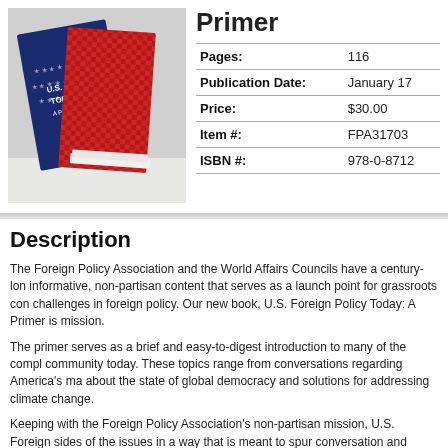[Figure (photo): Photo of the book 'U.S. Foreign Policy Today: A Primer' showing its cover with red, white, and blue design]
Primer
| Field | Value |
| --- | --- |
| Pages: | 116 |
| Publication Date: | January 17... |
| Price: | $30.00 |
| Item #: | FPA31703... |
| ISBN #: | 978-0-8712... |
Description
The Foreign Policy Association and the World Affairs Councils have a century-lon... informative, non-partisan content that serves as a launch point for grassroots con... challenges in foreign policy. Our new book, U.S. Foreign Policy Today: A Primer is... mission.
The primer serves as a brief and easy-to-digest introduction to many of the compl... community today. These topics range from conversations regarding America's ma... about the state of global democracy and solutions for addressing climate change.
Keeping with the Foreign Policy Association's non-partisan mission, U.S. Foreign... sides of the issues in a way that is meant to spur conversation and informed deba... written in a way that ensures that the content is relevant for both a foreign policy n... ...FPA publications.